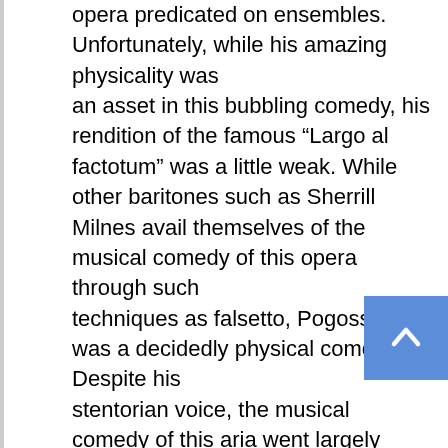opera predicated on ensembles. Unfortunately, while his amazing physicality was an asset in this bubbling comedy, his rendition of the famous “Largo al factotum” was a little weak. While other baritones such as Sherrill Milnes avail themselves of the musical comedy of this opera through such techniques as falsetto, Pogossov was a decidedly physical comedian. Despite his stentorian voice, the musical comedy of this aria went largely untouched.
Since The Barber of Seville, Bartlett Sher has come back to the Met to revive Les Contes d’Hoffman and to debut Le Conte Ory. Barber remains a decent harbinger of what was to come. The comedy of